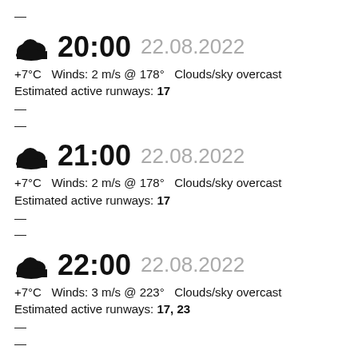—
20:00  22.08.2022
+7°C   Winds: 2 m/s @ 178°   Clouds/sky overcast   Estimated active runways: 17
—
—
21:00  22.08.2022
+7°C   Winds: 2 m/s @ 178°   Clouds/sky overcast   Estimated active runways: 17
—
—
22:00  22.08.2022
+7°C   Winds: 3 m/s @ 223°   Clouds/sky overcast   Estimated active runways: 17, 23
—
—